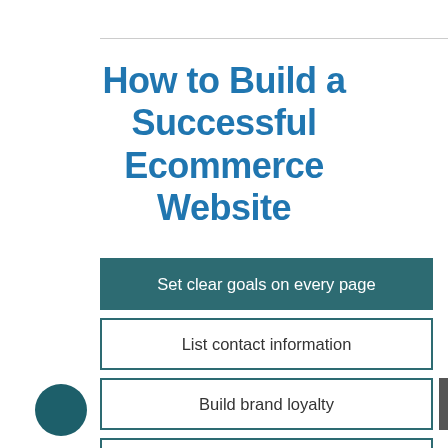How to Build a Successful Ecommerce Website
Set clear goals on every page
List contact information
Build brand loyalty
A hassle-free checkout process